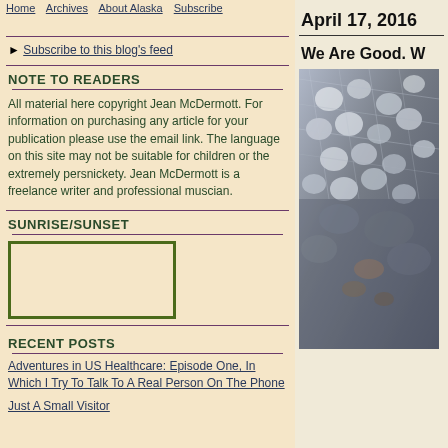Home   Archives   About Alaska   Subscribe
Subscribe to this blog's feed
NOTE TO READERS
All material here copyright Jean McDermott. For information on purchasing any article for your publication please use the email link. The language on this site may not be suitable for children or the extremely persnickety. Jean McDermott is a freelance writer and professional muscian.
SUNRISE/SUNSET
[Figure (other): Empty bordered box for sunrise/sunset widget]
RECENT POSTS
Adventures in US Healthcare: Episode One, In Which I Try To Talk To A Real Person On The Phone
Just A Small Visitor
April 17, 2016
We Are Good. W
[Figure (photo): Close-up photo of a textured surface with light and shadow patterns, appears to be netting or mesh material outdoors]